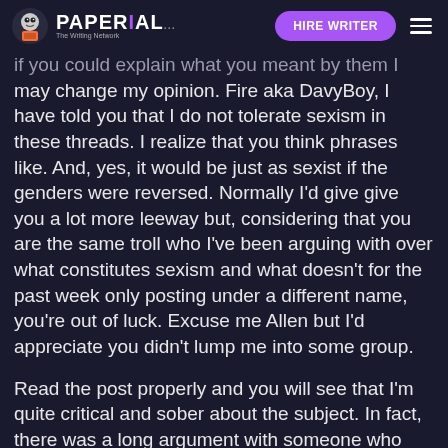PAPERIAL... HIRE WRITER
if you could explain what you meant by them I may change my opinion. Fire aka DavyBoy, I have told you that I do not tolerate sexism in these threads. I realize that you think phrases like. And, yes, it would be just as sexist if the genders were reversed. Normally I'd give give you a lot more leeway but, considering that you are the same troll who I've been arguing with over what constitutes sexism and what doesn't for the past week only posting under a different name, you're out of luck. Excuse me Allen but I'd appreciate you didn't lump me into some group.
Read the post properly and you will see that I'm quite critical and sober about the subject. In fact, there was a long argument with someone who reckoned I was intolerant towards people who lived the lifestyle. He fought until the bitter end to try and make it look like I'm "anti-female-supremacy" - much like DavyBoy in the "women leaders" thread who tried to make me look racist